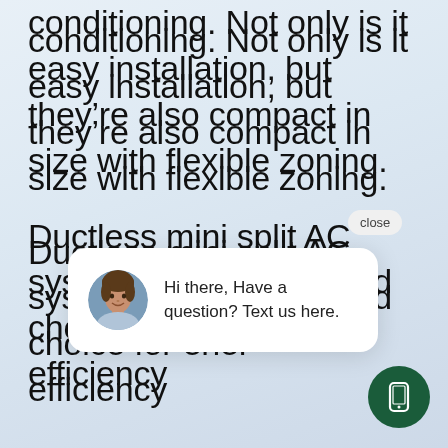conditioning. Not only is it easy installation, but they're also compact in size with flexible zoning.
Ductless mini split AC systems are also a good choice for energy efficiency cooling u everybody gets more control over their environment. If managed well, a ductless mini-split air
[Figure (screenshot): Chat popup widget with avatar photo of a woman and text 'Hi there, Have a question? Text us here.' with a close button, and a dark green circular phone/message button in the bottom right corner.]